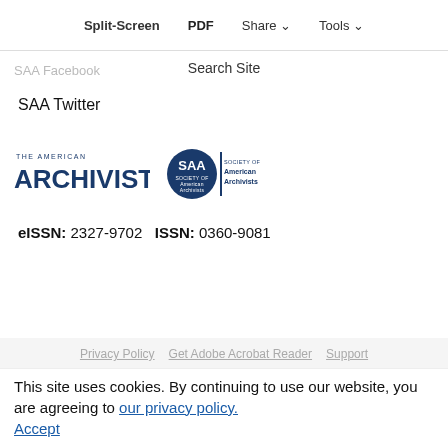Split-Screen   PDF   Share   Tools
Search Site
Privacy and Confidentiality
Disclaimer
SAA Facebook
SAA Twitter
[Figure (logo): The American Archivist journal logo and Society of American Archivists (SAA) logo]
eISSN: 2327-9702   ISSN: 0360-9081
Privacy Policy   Get Adobe Acrobat Reader   Support
This site uses cookies. By continuing to use our website, you are agreeing to our privacy policy. Accept